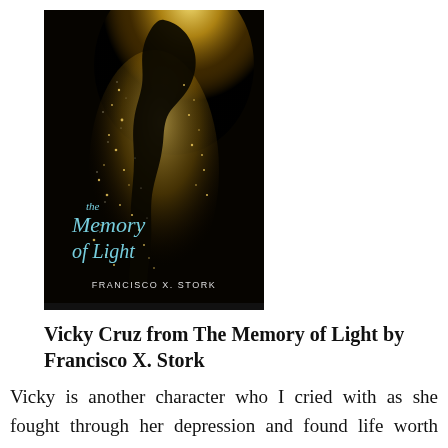[Figure (illustration): Book cover of 'The Memory of Light' by Francisco X. Stork. Dark background with a glowing golden silhouette of a person's profile dissolving into sparkling particles. Title in light blue italic script font, author name in white sans-serif at the bottom.]
Vicky Cruz from The Memory of Light by Francisco X. Stork
Vicky is another character who I cried with as she fought through her depression and found life worth living after her suicide attempt. She is a quiet character, in that she observes the world in